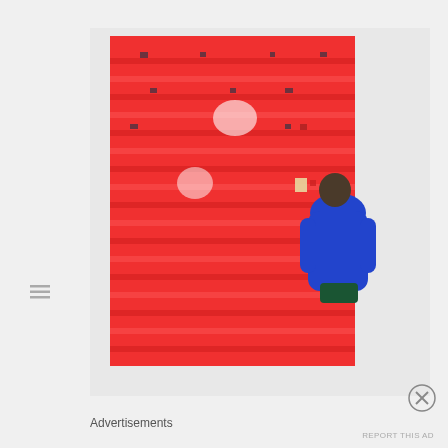[Figure (photo): A person in a blue sweatshirt viewed from behind, standing in front of a large red artwork or display panel mounted on a white gallery wall. The red panel has a grid-like pattern of horizontal shelves or pockets with small objects placed on them. The gallery wall is white and the scene appears to be in an art gallery or museum setting.]
Advertisements